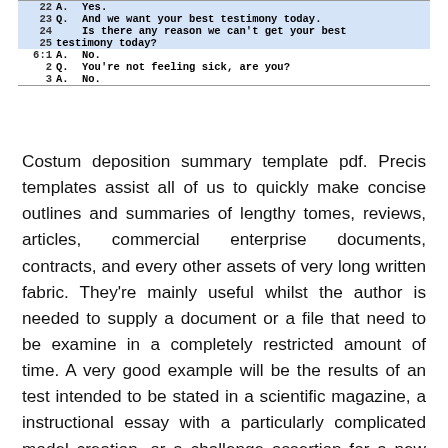| 22 | A. | Yes. |
| 23 | Q. | And we want your best testimony today. |
| 24 |  | Is there any reason we can't get your best |
| 25 | testimony today? |  |
| 6:1 | A. | No. |
| 2 | Q. | You're not feeling sick, are you? |
| 3 | A. | No. |
Costum deposition summary template pdf. Precis templates assist all of us to quickly make concise outlines and summaries of lengthy tomes, reviews, articles, commercial enterprise documents, contracts, and every other assets of very long written fabric. They're mainly useful whilst the author is needed to supply a document or a file that need to be examine in a completely restricted amount of time. A very good example will be the results of an test intended to be stated in a scientific magazine, a instructional essay with a particularly complicated model creation, or a challenge assertion for a new business assignment. Summary templates can contend with a lot of these necessities at the same time as substantially lowering time spent on rereading already produced worksheets or